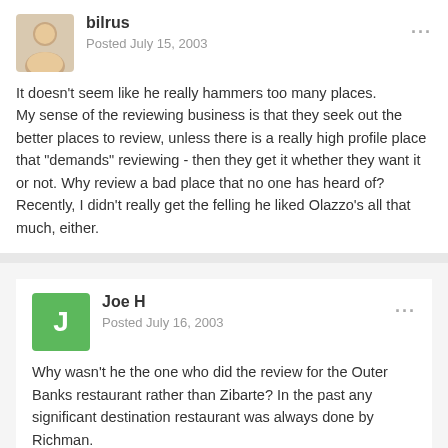bilrus
Posted July 15, 2003
It doesn't seem like he really hammers too many places. My sense of the reviewing business is that they seek out the better places to review, unless there is a really high profile place that "demands" reviewing - then they get it whether they want it or not. Why review a bad place that no one has heard of? Recently, I didn't really get the felling he liked Olazzo's all that much, either.
Joe H
Posted July 16, 2003
Why wasn't he the one who did the review for the Outer Banks restaurant rather than Zibarte? In the past any significant destination restaurant was always done by Richman. When you read his review of SBC carefully he wasn't as complimentary as I first thought. Much of it was value for money.